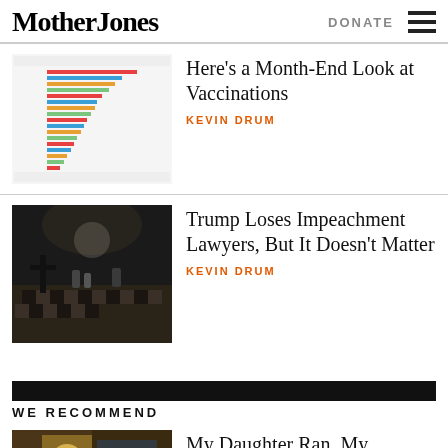Mother Jones | DONATE
[Figure (screenshot): Thumbnail of a horizontal bar chart showing COVID-19 vaccination rates by country]
Here's a Month-End Look at Vaccinations
KEVIN DRUM
[Figure (photo): Dark interior of a large hall with people and a cross in the foreground, resembling the US Capitol rotunda]
Trump Loses Impeachment Lawyers, But It Doesn't Matter
KEVIN DRUM
WE RECOMMEND
[Figure (photo): Colorful storefront or interior with warm yellow lighting]
My Daughter Ran. My